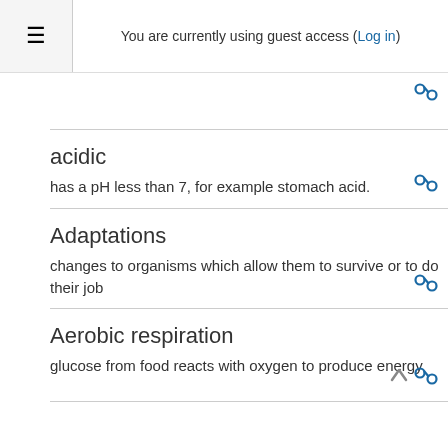You are currently using guest access (Log in)
acidic
has a pH less than 7, for example stomach acid.
Adaptations
changes to organisms which allow them to survive or to do their job
Aerobic respiration
glucose from food reacts with oxygen to produce energy